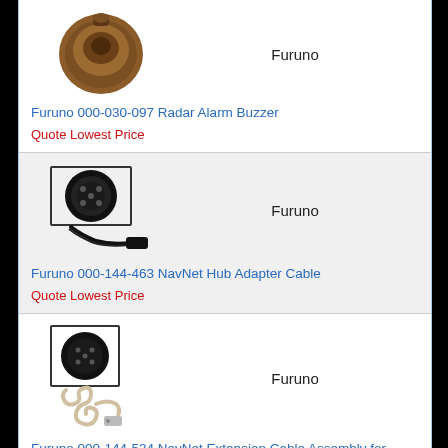[Figure (photo): Furuno 000-030-097 Radar Alarm Buzzer product image - brown/copper colored round buzzer component]
Furuno
Furuno 000-030-097 Radar Alarm Buzzer
Quote Lowest Price
[Figure (photo): Furuno 000-144-463 NavNet Hub Adapter Cable - black circular connector with cable]
Furuno
Furuno 000-144-463 NavNet Hub Adapter Cable
Quote Lowest Price
[Figure (photo): Furuno 000-144-534 NavNet Extension Cable Assembly for BBWGPS - circular connector with coiled cable]
Furuno
Furuno 000-144-534 NavNet Extension Cable Assembly for BBWGPS or
Quote Lowest Price